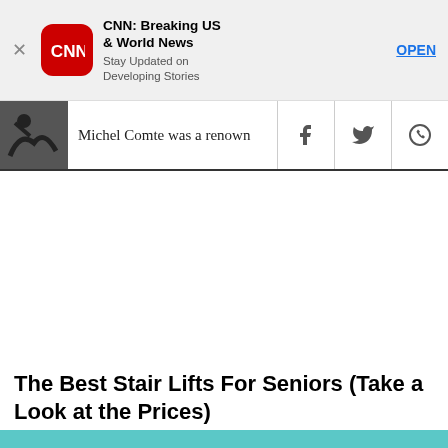[Figure (screenshot): CNN app advertisement banner with CNN logo, title 'CNN: Breaking US & World News', subtitle 'Stay Updated on Developing Stories', and OPEN button]
Michel Comte was a renown
The Best Stair Lifts For Seniors (Take a Look at the Prices)
Stair Lifts | Sponsored Links